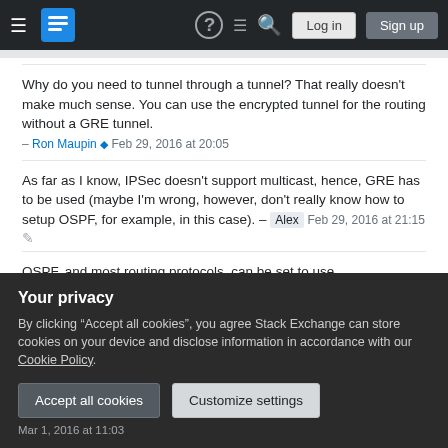Stack Exchange navigation bar with hamburger menu, logo, help, chat, search icons, Log in and Sign up buttons
Why do you need to tunnel through a tunnel? That really doesn't make much sense. You can use the encrypted tunnel for the routing without a GRE tunnel. – Ron Maupin ♦ Feb 29, 2016 at 20:05
As far as I know, IPSec doesn't support multicast, hence, GRE has to be used (maybe I'm wrong, however, don't really know how to setup OSPF, for example, in this case). – Alex Feb 29, 2016 at 21:15
OSPF, and most routing protocols, can be set to use
Your privacy
By clicking "Accept all cookies", you agree Stack Exchange can store cookies on your device and disclose information in accordance with our Cookie Policy.
Accept all cookies
Customize settings
Mar 1, 2016 at 11:03